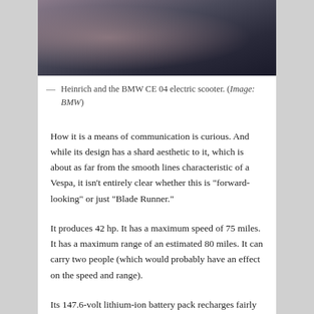[Figure (photo): Partial view of a BMW CE 04 electric scooter, dark angular design with orange accents, in motion or studio setting with blurred background.]
— Heinrich and the BMW CE 04 electric scooter. (Image: BMW)
How it is a means of communication is curious. And while its design has a shard aesthetic to it, which is about as far from the smooth lines characteristic of a Vespa, it isn’t entirely clear whether this is “forward-looking” or just “Blade Runner.”
It produces 42 hp. It has a maximum speed of 75 miles. It has a maximum range of an estimated 80 miles. It can carry two people (which would probably have an effect on the speed and range).
Its 147.6-volt lithium-ion battery pack recharges fairly quickly: from 0 to 100% in 4 hours and 20 minutes when plugged into a normal household outlet (Level 1). For a Level